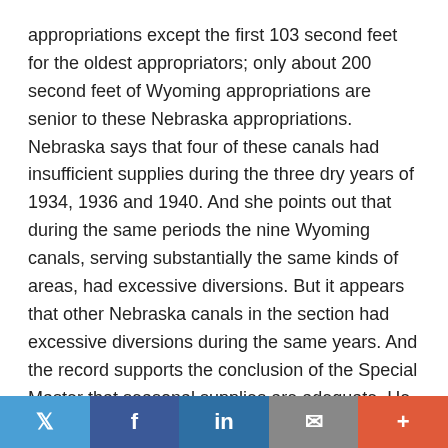appropriations except the first 103 second feet for the oldest appropriators; only about 200 second feet of Wyoming appropriations are senior to these Nebraska appropriations. Nebraska says that four of these canals had insufficient supplies during the three dry years of 1934, 1936 and 1940. And she points out that during the same periods the nine Wyoming canals, serving substantially the same kinds of areas, had excessive diversions. But it appears that other Nebraska canals in the section had excessive diversions during the same years. And the record supports the conclusion of the Special Master that seasonal supplies are adequate. He explained the shortages as due (1) to lack of coincidence between the time [325 U.S. 589, 655]   and quantity of supplies and the time and extent of needs; (2) the excessive diversions by some canals at the expense of others; (3) the withdrawal of water as a matter of priority to
Twitter | Facebook | LinkedIn | Email | +